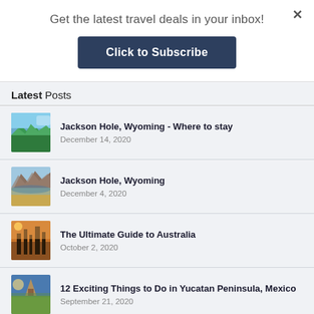Get the latest travel deals in your inbox!
Click to Subscribe
Latest Posts
Jackson Hole, Wyoming - Where to stay
December 14, 2020
Jackson Hole, Wyoming
December 4, 2020
The Ultimate Guide to Australia
October 2, 2020
12 Exciting Things to Do in Yucatan Peninsula, Mexico
September 21, 2020